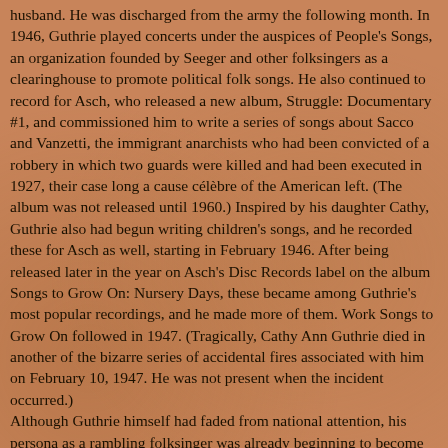husband. He was discharged from the army the following month. In 1946, Guthrie played concerts under the auspices of People's Songs, an organization founded by Seeger and other folksingers as a clearinghouse to promote political folk songs. He also continued to record for Asch, who released a new album, Struggle: Documentary #1, and commissioned him to write a series of songs about Sacco and Vanzetti, the immigrant anarchists who had been convicted of a robbery in which two guards were killed and had been executed in 1927, their case long a cause célèbre of the American left. (The album was not released until 1960.) Inspired by his daughter Cathy, Guthrie also had begun writing children's songs, and he recorded these for Asch as well, starting in February 1946. After being released later in the year on Asch's Disc Records label on the album Songs to Grow On: Nursery Days, these became among Guthrie's most popular recordings, and he made more of them. Work Songs to Grow On followed in 1947. (Tragically, Cathy Ann Guthrie died in another of the bizarre series of accidental fires associated with him on February 10, 1947. He was not present when the incident occurred.) Although Guthrie himself had faded from national attention, his persona as a rambling folksinger was already beginning to become legendary. This was suggested on January 10, 1947, when the musical Finian's Rainbow opened on Broadway for a run of 725 performances. Sonny Terry had a part in the show, which featured a certain character named Woody, a free-spirited, guitar-playing